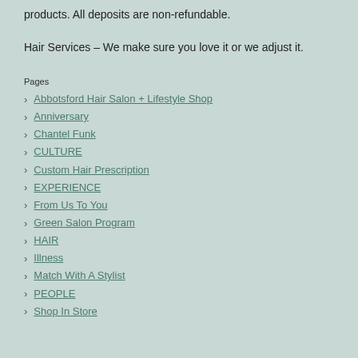products. All deposits are non-refundable.
Hair Services – We make sure you love it or we adjust it.
Pages
Abbotsford Hair Salon + Lifestyle Shop
Anniversary
Chantel Funk
CULTURE
Custom Hair Prescription
EXPERIENCE
From Us To You
Green Salon Program
HAIR
Illness
Match With A Stylist
PEOPLE
Shop In Store